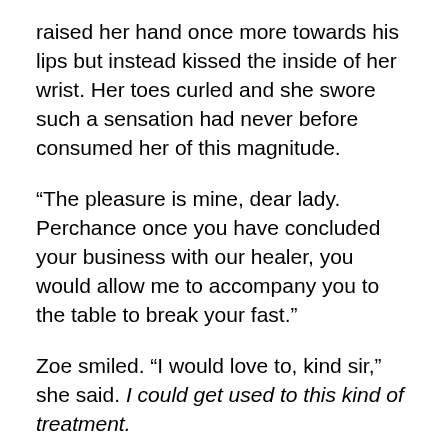raised her hand once more towards his lips but instead kissed the inside of her wrist. Her toes curled and she swore such a sensation had never before consumed her of this magnitude.
“The pleasure is mine, dear lady. Perchance once you have concluded your business with our healer, you would allow me to accompany you to the table to break your fast.”
Zoe smiled. “I would love to, kind sir,” she said. I could get used to this kind of treatment.
He opened the door of the hall and Zoe walked outside only to stare in wonder at what she saw: snow falling upon a full-blown medieval castle in all its glory. She should have been watching where she was going but she was so preoccupied with the view and her companion that she